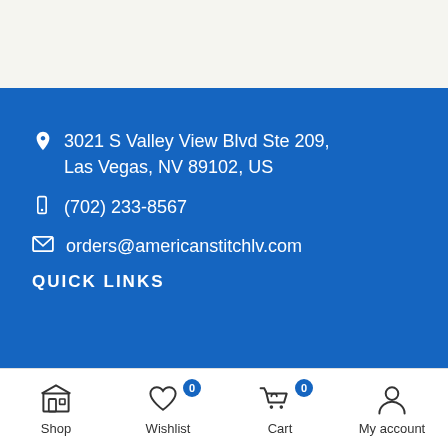3021 S Valley View Blvd Ste 209, Las Vegas, NV 89102, US
(702) 233-8567
orders@americanstitchlv.com
QUICK LINKS
Shop | Wishlist 0 | Cart 0 | My account